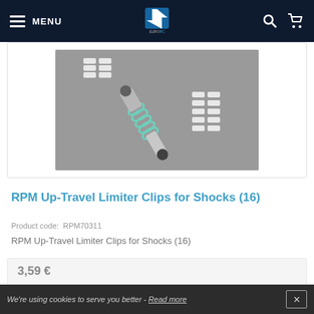MENU | EuroRC logo | Search | Cart
[Figure (photo): Product photo of RPM Up-Travel Limiter Clips for Shocks (16) — white plastic H-shaped clips and a shock absorber with green spring on a grey background]
RPM Up-Travel Limiter Clips for Shocks (16)
Product code: RPM70311
RPM Up-Travel Limiter Clips for Shocks (16)
3,59 €
Availability
Temporarily out of stock
We're using cookies to serve you better - Read more ✕